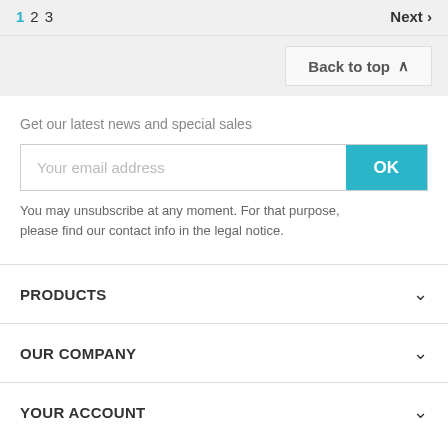1 2 3   Next >
Back to top ^
Get our latest news and special sales
Your email address
OK
You may unsubscribe at any moment. For that purpose, please find our contact info in the legal notice.
PRODUCTS
OUR COMPANY
YOUR ACCOUNT